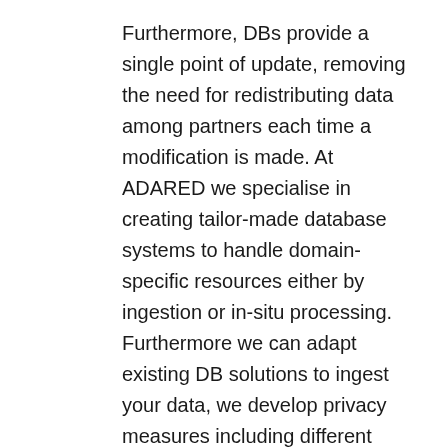Furthermore, DBs provide a single point of update, removing the need for redistributing data among partners each time a modification is made. At ADARED we specialise in creating tailor-made database systems to handle domain-specific resources either by ingestion or in-situ processing. Furthermore we can adapt existing DB solutions to ingest your data, we develop privacy measures including different forms of encryption and distributed computing and we build database systems using distributed technologies such as blockchain and distributed hash table (DHT). Give us a call to learn more.
Image Processing